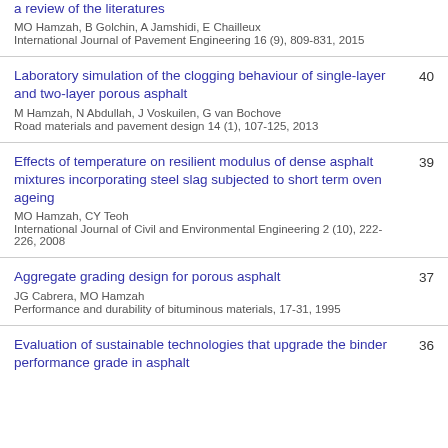a review of the literatures
MO Hamzah, B Golchin, A Jamshidi, E Chailleux
International Journal of Pavement Engineering 16 (9), 809-831, 2015
Laboratory simulation of the clogging behaviour of single-layer and two-layer porous asphalt
M Hamzah, N Abdullah, J Voskuilen, G van Bochove
Road materials and pavement design 14 (1), 107-125, 2013
40
Effects of temperature on resilient modulus of dense asphalt mixtures incorporating steel slag subjected to short term oven ageing
MO Hamzah, CY Teoh
International Journal of Civil and Environmental Engineering 2 (10), 222-226, 2008
39
Aggregate grading design for porous asphalt
JG Cabrera, MO Hamzah
Performance and durability of bituminous materials, 17-31, 1995
37
Evaluation of sustainable technologies that upgrade the binder performance grade in asphalt
36